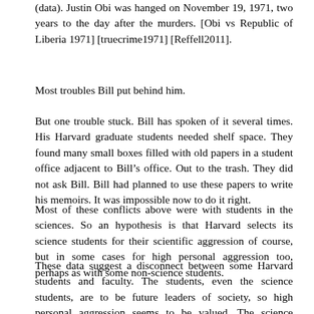(data).  Justin Obi was hanged on November 19, 1971, two years to the day after the murders.  [Obi vs Republic of Liberia 1971] [truecrime1971] [Reffell2011].
Most troubles Bill put behind him.
But one trouble stuck.  Bill has spoken of it several times.  His Harvard graduate students needed shelf space.  They found many small boxes filled with old papers in a student office adjacent to Bill’s office.  Out to the trash.  They did not ask Bill.  Bill had planned to use these papers to write his memoirs.  It was impossible now to do it right.
Most of these conflicts above were with students in the sciences.  So an hypothesis is that Harvard selects its science students for their scientific aggression of course, but in some cases for high personal aggression too, perhaps as with some non-science students.
These data suggest a disconnect between some Harvard students and faculty.  The students, even the science students, are to be future leaders of society, so high personal aggression seems to be valued.  The science faculty by contrast are expected only to revolutionize their fields.  For them high personal aggression seems not to be a consideration.  Such a disconnect would be